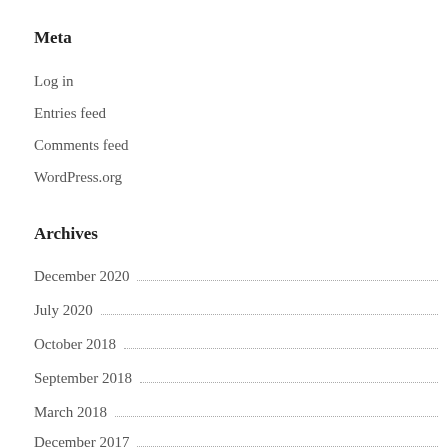Meta
Log in
Entries feed
Comments feed
WordPress.org
Archives
December 2020
July 2020
October 2018
September 2018
March 2018
December 2017